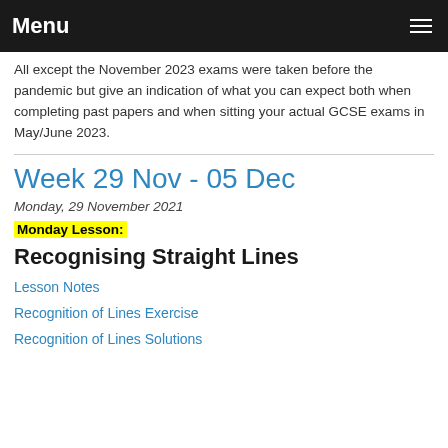Menu
All except the November 2023 exams were taken before the pandemic but give an indication of what you can expect both when completing past papers and when sitting your actual GCSE exams in May/June 2023.
Week 29 Nov - 05 Dec
Monday, 29 November 2021
Monday Lesson:
Recognising Straight Lines
Lesson Notes
Recognition of Lines Exercise
Recognition of Lines Solutions